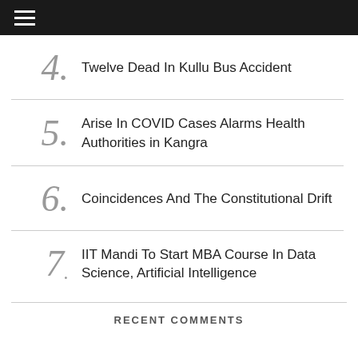≡
4. Twelve Dead In Kullu Bus Accident
5. Arise In COVID Cases Alarms Health Authorities in Kangra
6. Coincidences And The Constitutional Drift
7. IIT Mandi To Start MBA Course In Data Science, Artificial Intelligence
RECENT COMMENTS